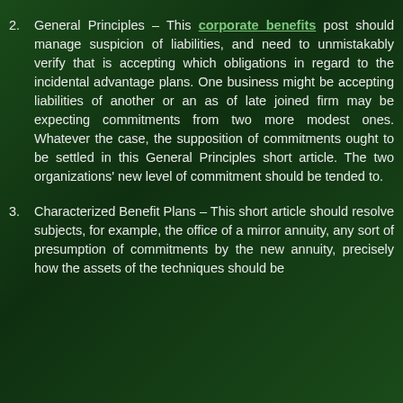2. General Principles – This corporate benefits post should manage suspicion of liabilities, and need to unmistakably verify that is accepting which obligations in regard to the incidental advantage plans. One business might be accepting liabilities of another or an as of late joined firm may be expecting commitments from two more modest ones. Whatever the case, the supposition of commitments ought to be settled in this General Principles short article. The two organizations' new level of commitment should be tended to.
3. Characterized Benefit Plans – This short article should resolve subjects, for example, the office of a mirror annuity, any sort of presumption of commitments by the new annuity, precisely how the assets of the techniques should be...